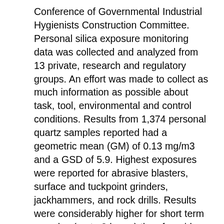Conference of Governmental Industrial Hygienists Construction Committee. Personal silica exposure monitoring data was collected and analyzed from 13 private, research and regulatory groups. An effort was made to collect as much information as possible about task, tool, environmental and control conditions. Results from 1,374 personal quartz samples reported had a geometric mean (GM) of 0.13 mg/m3 and a GSD of 5.9. Highest exposures were reported for abrasive blasters, surface and tuckpoint grinders, jackhammers, and rock drills. Results were considerably higher for short term samples (up to 2 hours) than for mid term (2-6 hours) or longer (over 6 hour) samples. For nearly all exposure variables, a large portion of variable categories were at or over the quartz occupational exposure